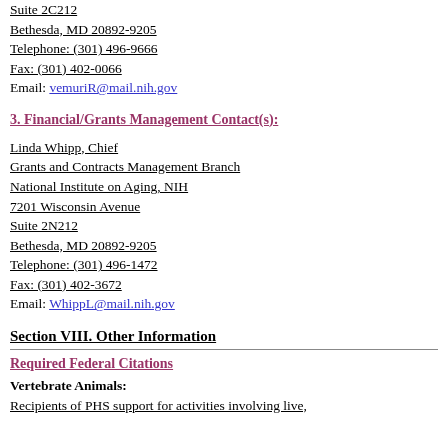Suite 2C212
Bethesda, MD 20892-9205
Telephone: (301) 496-9666
Fax: (301) 402-0066
Email: vemuriR@mail.nih.gov
3. Financial/Grants Management Contact(s):
Linda Whipp, Chief
Grants and Contracts Management Branch
National Institute on Aging, NIH
7201 Wisconsin Avenue
Suite 2N212
Bethesda, MD 20892-9205
Telephone: (301) 496-1472
Fax: (301) 402-3672
Email: WhippL@mail.nih.gov
Section VIII. Other Information
Required Federal Citations
Vertebrate Animals:
Recipients of PHS support for activities involving live,